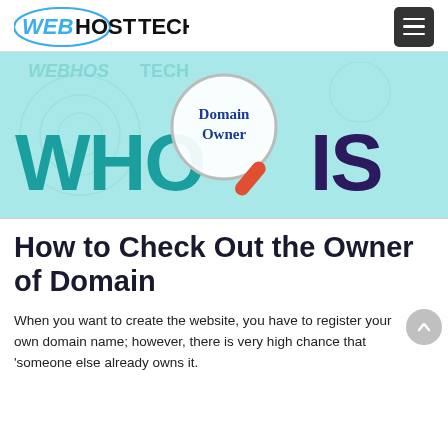WEBHOSTECH
[Figure (illustration): WHOIS Domain Owner graphic: teal background with 'WHO IS' text in large teal and dark purple letters, a magnifying glass icon with 'Domain Owner' text inside, and a watermark reading WEBHOSTECH]
How to Check Out the Owner of Domain
When you want to create the website, you have to register your own domain name; however, there is very high chance that 'someone else already owns it.